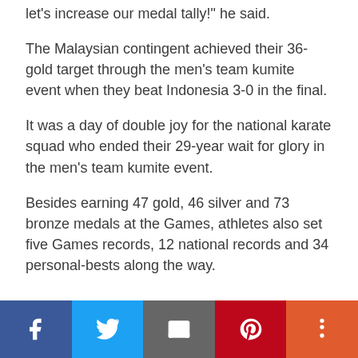let's increase our medal tally!" he said.
The Malaysian contingent achieved their 36-gold target through the men's team kumite event when they beat Indonesia 3-0 in the final.
It was a day of double joy for the national karate squad who ended their 29-year wait for glory in the men's team kumite event.
Besides earning 47 gold, 46 silver and 73 bronze medals at the Games, athletes also set five Games records, 12 national records and 34 personal-bests along the way.